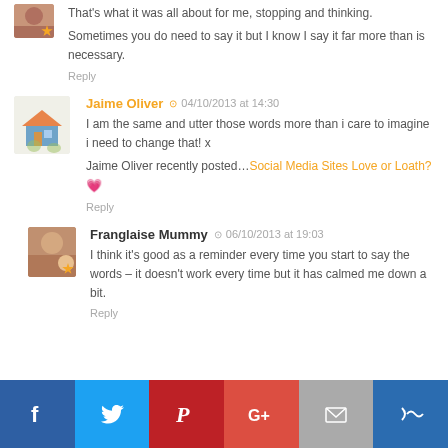That's what it was all about for me, stopping and thinking.
Sometimes you do need to say it but I know I say it far more than is necessary.
Reply
Jaime Oliver  04/10/2013 at 14:30
I am the same and utter those words more than i care to imagine i need to change that! x
Jaime Oliver recently posted…Social Media Sites Love or Loath?
Reply
Franglaise Mummy  06/10/2013 at 19:03
I think it's good as a reminder every time you start to say the words – it doesn't work every time but it has calmed me down a bit.
Reply